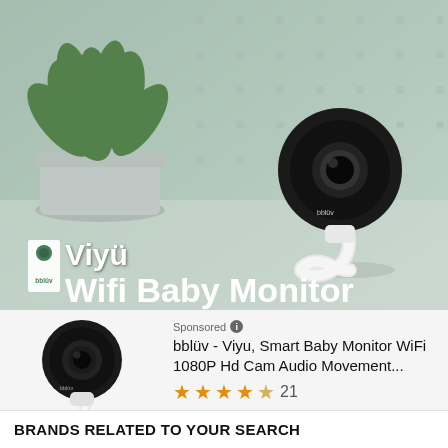[Figure (photo): Hero banner image of bblüv Viyü Wifi Baby Monitor. Shows a white flexible-neck camera with round black head on a surface, with a potted green plant in the background. Text overlay reads 'Viyü Wifi Baby Monitor' with bblüv logo.]
[Figure (photo): Product listing image of bblüv Viyü smart baby monitor camera with flexible white gooseneck stand and round black camera head.]
Sponsored
bblüv - Viyu, Smart Baby Monitor WiFi 1080P Hd Cam Audio Movement...
★★★★☆ 21
BRANDS RELATED TO YOUR SEARCH